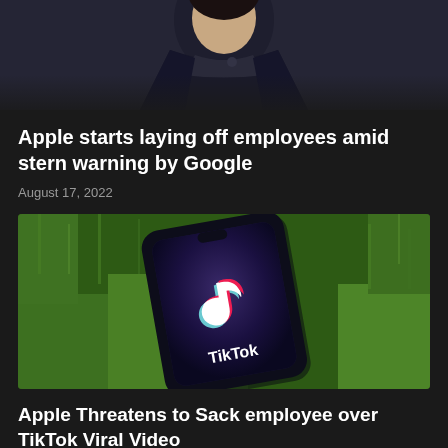[Figure (photo): Partial photo of a person in a dark blue/grey jacket, cropped at the top of the page]
Apple starts laying off employees amid stern warning by Google
August 17, 2022
[Figure (photo): Smartphone displaying TikTok logo and name lying on green grass]
Apple Threatens to Sack employee over TikTok Viral Video